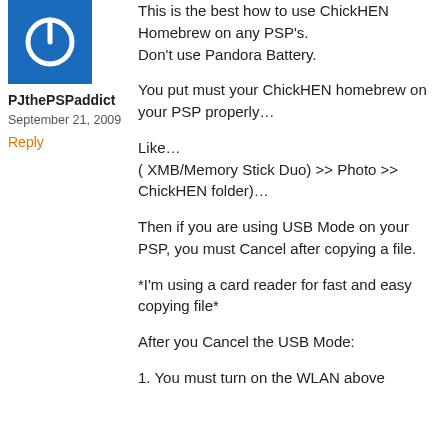[Figure (illustration): Blue square avatar with a white power/on button icon in the center]
PJthePSPaddict
September 21, 2009
Reply
This is the best how to use ChickHEN Homebrew on any PSP's.
Don't use Pandora Battery.

You put must your ChickHEN homebrew on your PSP properly…

Like…
( XMB/Memory Stick Duo) >> Photo >> ChickHEN folder)…

Then if you are using USB Mode on your PSP, you must Cancel after copying a file.

*I'm using a card reader for fast and easy copying file*

After you Cancel the USB Mode:

1. You must turn on the WLAN above